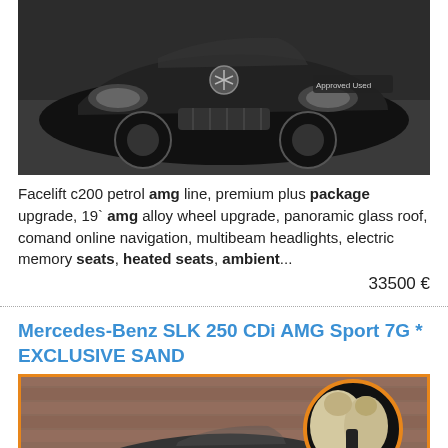[Figure (photo): Black Mercedes-Benz C200 facelift car, front view, with 'Approved Used' badge visible on windscreen, dark background]
Facelift c200 petrol amg line, premium plus package upgrade, 19` amg alloy wheel upgrade, panoramic glass roof, comand online navigation, multibeam headlights, electric memory seats, heated seats, ambient...
33500 €
Mercedes-Benz SLK 250 CDi AMG Sport 7G * EXCLUSIVE SAND
[Figure (photo): Dark grey Mercedes-Benz SLK 250 convertible car with top down, parked in front of brick wall. Inset circle image showing cream/sand leather interior seats and centre console.]